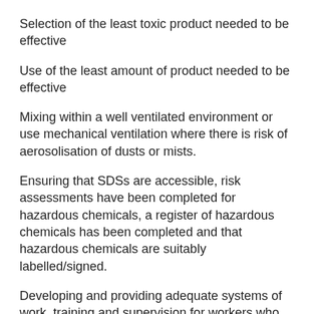Selection of the least toxic product needed to be effective
Use of the least amount of product needed to be effective
Mixing within a well ventilated environment or use mechanical ventilation where there is risk of aerosolisation of dusts or mists.
Ensuring that SDSs are accessible, risk assessments have been completed for hazardous chemicals, a register of hazardous chemicals has been completed and that hazardous chemicals are suitably labelled/signed.
Developing and providing adequate systems of work, training and supervision for workers who use hazardous chemicals. Specific guidance the content of training, information and instruction for workers can